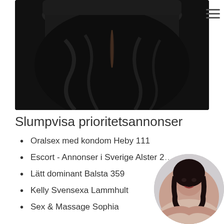[Figure (photo): A person with dark wavy hair viewed from above, wearing black clothing, with a center hair part visible. Dark, moody image.]
Slumpvisa prioritetsannonser
Oralsex med kondom Heby 111
Escort - Annonser i Sverige Alster 2[truncated]
Lätt dominant Balsta 359
Kelly Svensexa Lammhult
Sex & Massage Sophia
[Figure (photo): A circular thumbnail portrait of a woman with dark hair looking at the camera.]